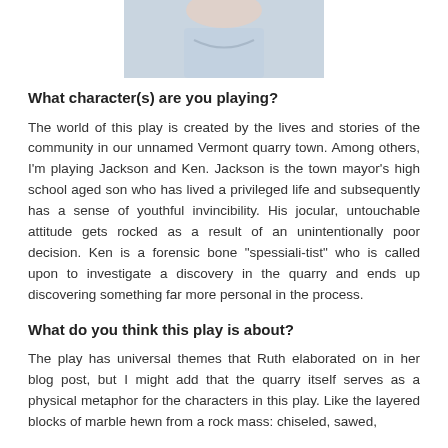[Figure (photo): Cropped photo of a person, showing the lower face and neck/collar area, light blue shirt]
What character(s) are you playing?
The world of this play is created by the lives and stories of the community in our unnamed Vermont quarry town. Among others, I'm playing Jackson and Ken. Jackson is the town mayor's high school aged son who has lived a privileged life and subsequently has a sense of youthful invincibility. His jocular, untouchable attitude gets rocked as a result of an unintentionally poor decision. Ken is a forensic bone "spessiali-tist" who is called upon to investigate a discovery in the quarry and ends up discovering something far more personal in the process.
What do you think this play is about?
The play has universal themes that Ruth elaborated on in her blog post, but I might add that the quarry itself serves as a physical metaphor for the characters in this play. Like the layered blocks of marble hewn from a rock mass: chiseled, sawed,